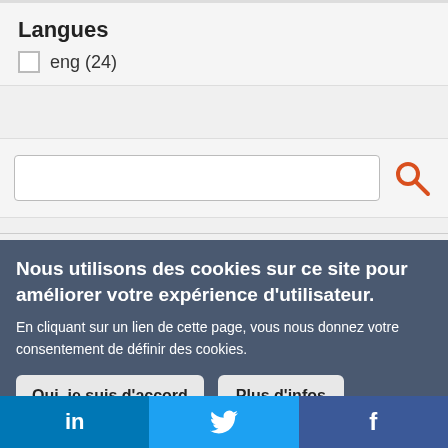Langues
eng (24)
[Figure (screenshot): Search input field with orange magnifying glass search icon button]
Nous utilisons des cookies sur ce site pour améliorer votre expérience d'utilisateur.
En cliquant sur un lien de cette page, vous nous donnez votre consentement de définir des cookies.
Oui, je suis d'accord
Plus d'infos
[Figure (infographic): Social media bar with LinkedIn (blue), Twitter (light blue), and Facebook (dark blue) icons]